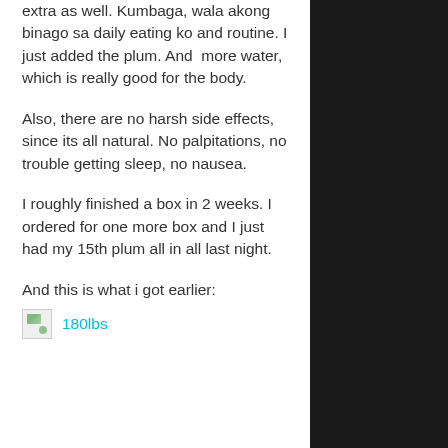extra as well. Kumbaga, wala akong binago sa daily eating ko and routine. I just added the plum. And  more water, which is really good for the body.
Also, there are no harsh side effects, since its all natural. No palpitations, no trouble getting sleep, no nausea.
I roughly finished a box in 2 weeks. I ordered for one more box and I just had my 15th plum all in all last night.
And this is what i got earlier:
[Figure (photo): Broken image placeholder followed by a cyan link text reading '180lbs']